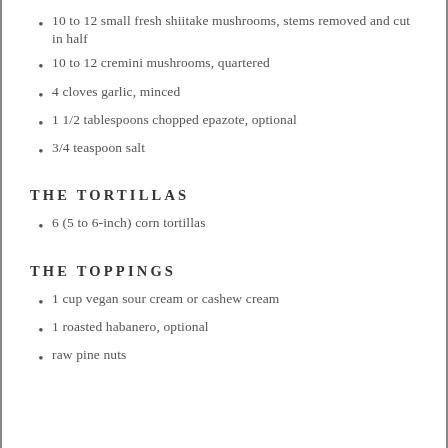10 to 12 small fresh shiitake mushrooms, stems removed and cut in half
10 to 12 cremini mushrooms, quartered
4 cloves garlic, minced
1 1/2 tablespoons chopped epazote, optional
3/4 teaspoon salt
THE TORTILLAS
6 (5 to 6-inch) corn tortillas
THE TOPPINGS
1 cup vegan sour cream or cashew cream
1 roasted habanero, optional
raw pine nuts